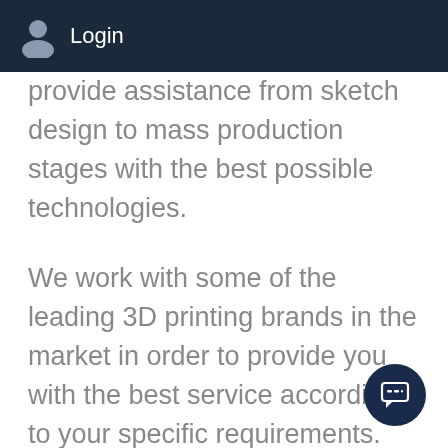Login
provide assistance from sketch design to mass production stages with the best possible technologies.
We work with some of the leading 3D printing brands in the market in order to provide you with the best service according to your specific requirements. We aim to revolutionise the world of manufacturing and offer our clients the latest and the most efficient 3D printing solutions. For this purpose, we have an experienced team that can make your